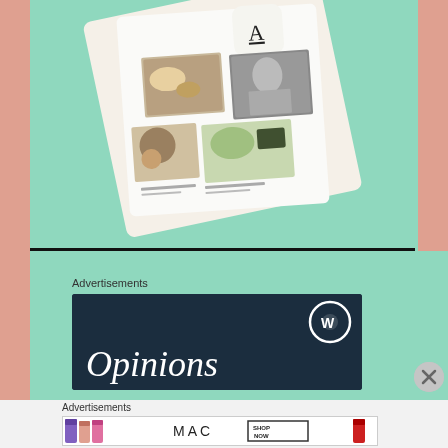[Figure (screenshot): App screenshot showing a food/recipe magazine-style app interface with photos of food dishes and a magazine layout, displayed at an angle on a mint green background]
Advertisements
[Figure (screenshot): WordPress.com advertisement with dark navy background showing 'Opinions' text in italic serif font and WordPress logo]
Advertisements
[Figure (screenshot): MAC cosmetics advertisement showing lipsticks in purple, pink and red colors with MAC logo and 'SHOP NOW' button]